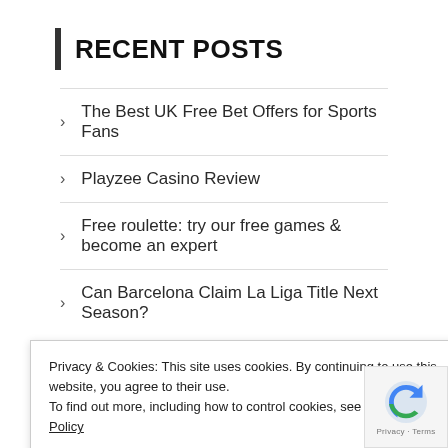RECENT POSTS
The Best UK Free Bet Offers for Sports Fans
Playzee Casino Review
Free roulette: try our free games & become an expert
Can Barcelona Claim La Liga Title Next Season?
Privacy & Cookies: This site uses cookies. By continuing to use this website, you agree to their use. To find out more, including how to control cookies, see here: Cookie Policy
LINKS
BetNumbers.co.ke